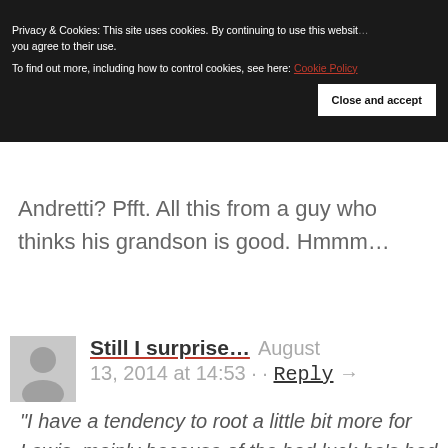Privacy & Cookies: This site uses cookies. By continuing to use this website, you agree to their use.
To find out more, including how to control cookies, see here: Cookie Policy
Close and accept
Andretti? Pfft. All this from a guy who thinks his grandson is good. Hmmm...
Still I surprise...  August 13, 2014 at 14:53 · · Reply →
"I have a tendency to root a little bit more for Lewis, mainly because of the bad luck he's had mechanically. When